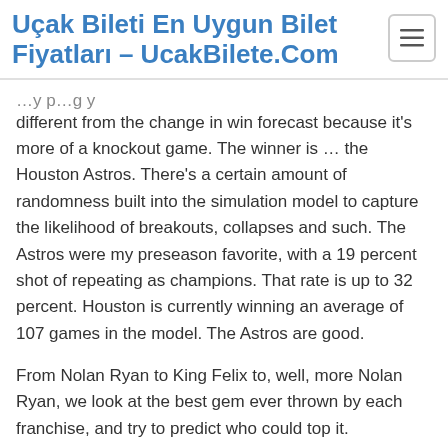Uçak Bileti En Uygun Bilet Fiyatları – UcakBilete.Com
different from the change in win forecast because it's more of a knockout game. The winner is … the Houston Astros. There's a certain amount of randomness built into the simulation model to capture the likelihood of breakouts, collapses and such. The Astros were my preseason favorite, with a 19 percent shot of repeating as champions. That rate is up to 32 percent. Houston is currently winning an average of 107 games in the model. The Astros are good.
From Nolan Ryan to King Felix to, well, more Nolan Ryan, we look at the best gem ever thrown by each franchise, and try to predict who could top it.